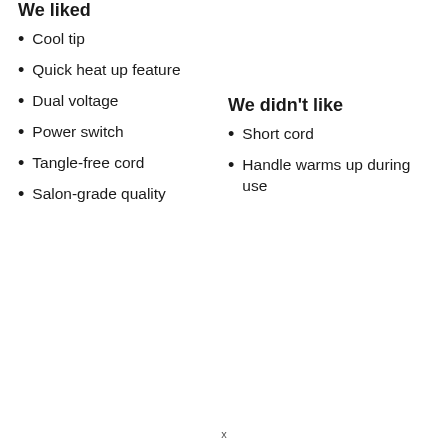We liked
Cool tip
Quick heat up feature
Dual voltage
Power switch
Tangle-free cord
Salon-grade quality
We didn't like
Short cord
Handle warms up during use
x